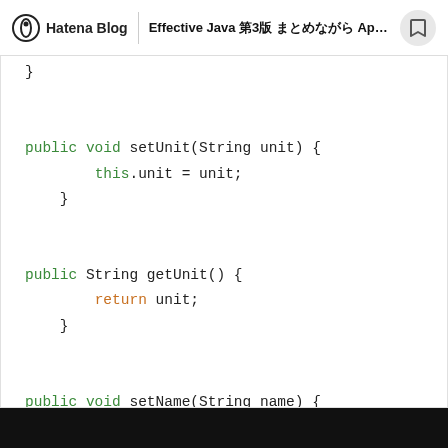Hatena Blog | Effective Java 第3版 まとめながら Apache...
[Figure (screenshot): Java code snippet showing setUnit, getUnit, and setName methods with syntax highlighting. Keywords 'public', 'void', 'String' in green, 'this' in green, 'return' in orange.]